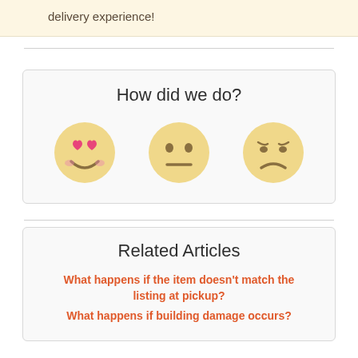delivery experience!
[Figure (infographic): Three emoji faces for feedback: heart-eyes (love), neutral face, and sad/disappointed face]
How did we do?
Related Articles
What happens if the item doesn't match the listing at pickup?
What happens if building damage occurs?